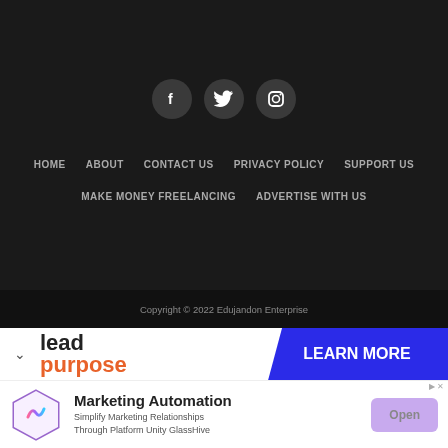[Figure (illustration): Social media icons: Facebook (f), Twitter (bird), Instagram (camera) in dark circular buttons]
HOME   ABOUT   CONTACT US   PRIVACY POLICY   SUPPORT US   MAKE MONEY FREELANCING   ADVERTISE WITH US
Copyright © 2022 Edujandon Enterprise
[Figure (infographic): Lead Purpose advertisement banner with orange text and blue LEARN MORE button]
[Figure (infographic): Marketing Automation ad: GlassHive logo, text 'Marketing Automation - Simplify Marketing Relationships Through Platform Unity GlassHive', Open button]